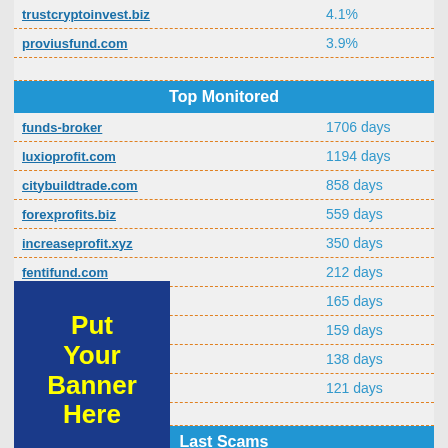| Site | Rate |
| --- | --- |
| trustcryptoinvest.biz | 4.1% |
| proviusfund.com | 3.9% |
|  |  |
Top Monitored
| Site | Days |
| --- | --- |
| funds-broker | 1706 days |
| luxioprofit.com | 1194 days |
| citybuildtrade.com | 858 days |
| forexprofits.biz | 559 days |
| increaseprofit.xyz | 350 days |
| fentifund.com | 212 days |
| bitcryptodeposit.com | 165 days |
| mazaprofit.com | 159 days |
|  | 138 days |
|  | 121 days |
|  |  |
[Figure (infographic): Banner ad: blue background with yellow bold text reading 'Put Your Banner Here']
Last Scams